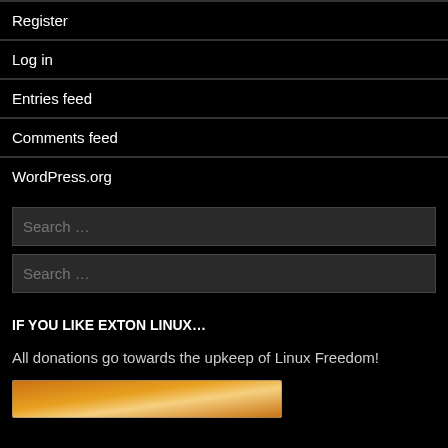Register
Log in
Entries feed
Comments feed
WordPress.org
Search …
Search …
IF YOU LIKE EXTON LINUX…
All donations go towards the upkeep of Linux Freedom!
[Figure (illustration): Donation button image with orange/gold gradient]